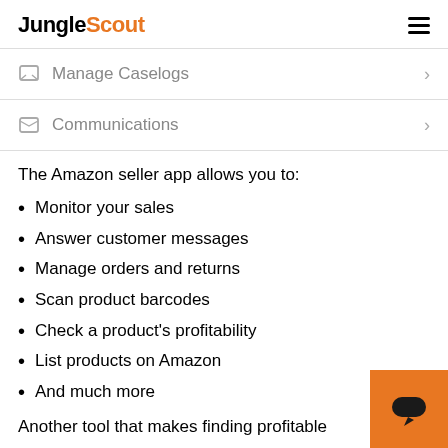JungleScout
Manage Caselogs
Communications
The Amazon seller app allows you to:
Monitor your sales
Answer customer messages
Manage orders and returns
Scan product barcodes
Check a product's profitability
List products on Amazon
And much more
Another tool that makes finding profitable
[Figure (other): Orange chat button widget in the bottom-right corner]